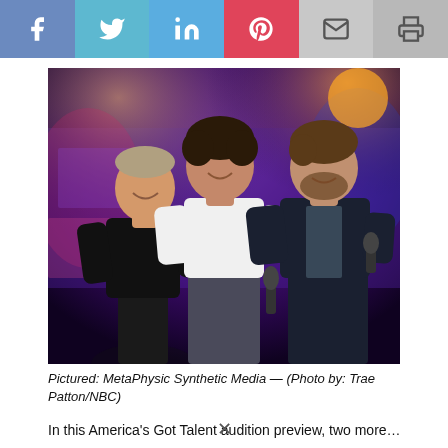[Figure (other): Social media share bar with icons for Facebook, Twitter, LinkedIn, Pinterest, Email, and Print]
[Figure (photo): Three men standing on a stage with purple/blue lighting behind them. Left man wears black shirt, center man wears white shirt, right man wears dark jacket holding microphone. Stage lighting visible in background.]
Pictured: MetaPhysic Synthetic Media — (Photo by: Trae Patton/NBC)
In this America's Got Talent audition preview, two more…